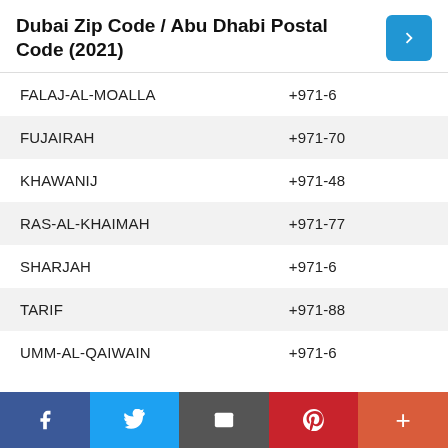Dubai Zip Code / Abu Dhabi Postal Code (2021)
| Location | Code |
| --- | --- |
| FALAJ-AL-MOALLA | +971-6 |
| FUJAIRAH | +971-70 |
| KHAWANIJ | +971-48 |
| RAS-AL-KHAIMAH | +971-77 |
| SHARJAH | +971-6 |
| TARIF | +971-88 |
| UMM-AL-QAIWAIN | +971-6 |
RELEATED POST TO
f  Twitter  Email  Pinterest  +